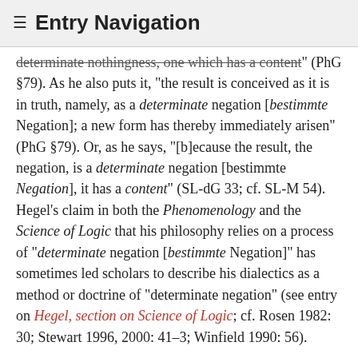≡ Entry Navigation
determinate nothingness, one which has a content" (PhG §79). As he also puts it, "the result is conceived as it is in truth, namely, as a determinate negation [bestimmte Negation]; a new form has thereby immediately arisen" (PhG §79). Or, as he says, "[b]ecause the result, the negation, is a determinate negation [bestimmte Negation], it has a content" (SL-dG 33; cf. SL-M 54). Hegel's claim in both the Phenomenology and the Science of Logic that his philosophy relies on a process of "determinate negation [bestimmte Negation]" has sometimes led scholars to describe his dialectics as a method or doctrine of "determinate negation" (see entry on Hegel, section on Science of Logic; cf. Rosen 1982: 30; Stewart 1996, 2000: 41–3; Winfield 1990: 56).
There are several features of this account that Hegel thinks raise his dialectical method above the arbitrariness of Plato's dialectics to the level of a genuine science. First, because the determinations in the moment of understanding sublate themselves, Hegel's dialectics does not require some new idea to show up arbitrarily. Instead,